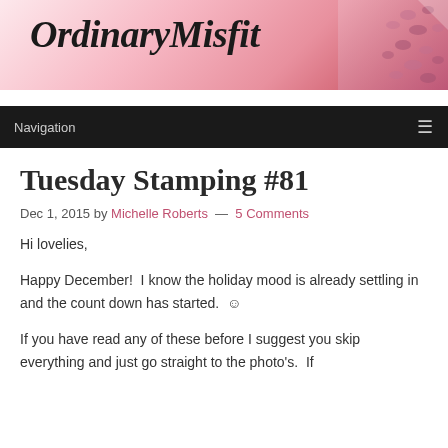[Figure (illustration): Blog header banner with 'OrdinaryMisfit' title text in bold italic serif font over a pink gradient background with leopard print pattern in the top right corner.]
Navigation
Tuesday Stamping #81
Dec 1, 2015 by Michelle Roberts — 5 Comments
Hi lovelies,
Happy December! I know the holiday mood is already settling in and the count down has started. ☺
If you have read any of these before I suggest you skip everything and just go straight to the photo's. If